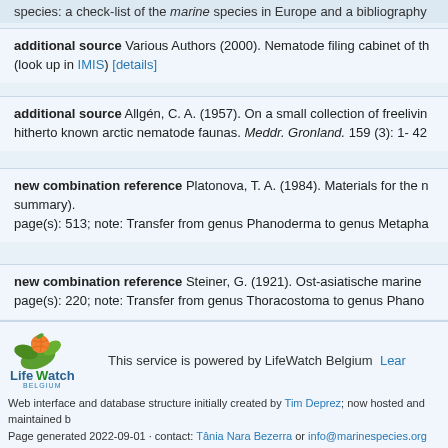species: a check-list of the marine species in Europe and a bibliography
additional source Various Authors (2000). Nematode filing cabinet of th (look up in IMIS) [details]
additional source Allgén, C. A. (1957). On a small collection of freeliving hitherto known arctic nematode faunas. Meddr. Gronland. 159 (3): 1- 42
new combination reference Platonova, T. A. (1984). Materials for the r summary). page(s): 513; note: Transfer from genus Phanoderma to genus Metapha
new combination reference Steiner, G. (1921). Ost-asiatische marine page(s): 220; note: Transfer from genus Thoracostoma to genus Phano
[Figure (logo): LifeWatch Belgium logo with orange and green fruit/leaf design]
This service is powered by LifeWatch Belgium Learn
Web interface and database structure initially created by Tim Deprez; now hosted and maintained b Page generated 2022-09-01 · contact: Tânia Nara Bezerra or info@marinespecies.org